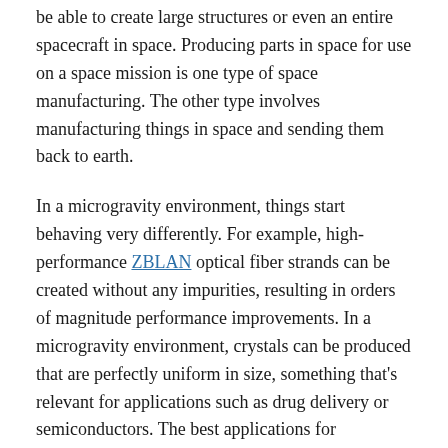be able to create large structures or even an entire spacecraft in space. Producing parts in space for use on a space mission is one type of space manufacturing. The other type involves manufacturing things in space and sending them back to earth.
In a microgravity environment, things start behaving very differently. For example, high-performance ZBLAN optical fiber strands can be created without any impurities, resulting in orders of magnitude performance improvements. In a microgravity environment, crystals can be produced that are perfectly uniform in size, something that's relevant for applications such as drug delivery or semiconductors. The best applications for manufacturing in space probably haven't even been thought up yet. The question is, what materials would be most economically viable to produce in space today?
We need to separate the wheat from the chaff. Sure, creating